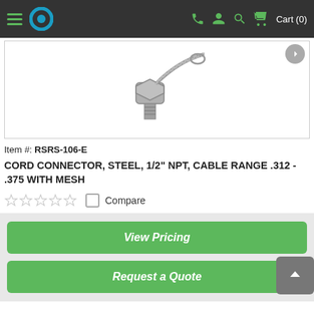Cart (0)
[Figure (photo): Product photo of a steel cord connector with mesh, item RSRS-106-E. Metal threaded fitting with cable mesh strain relief attachment.]
Item #: RSRS-106-E
CORD CONNECTOR, STEEL, 1/2" NPT, CABLE RANGE .312 - .375 WITH MESH
Compare
View Pricing
Request a Quote